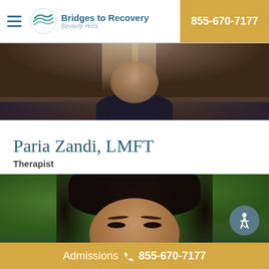Bridges to Recovery Beverly Hills | 855-670-7177
[Figure (photo): Partial photo of a woman with highlighted hair, wearing a dark jacket, cropped at shoulders — top banner image]
Paria Zandi, LMFT
Therapist
[Figure (photo): Portrait photo of Paria Zandi, a woman with dark curly hair, photographed outdoors in front of green foliage, cropped to show face and top of head]
Admissions 855-670-7177